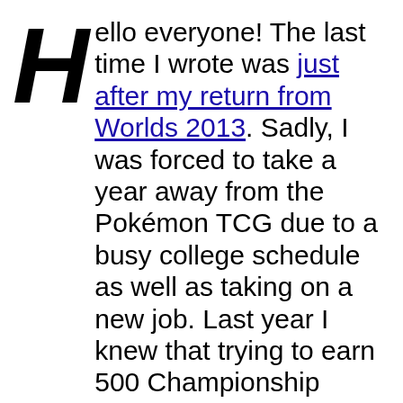Hello everyone! The last time I wrote was just after my return from Worlds 2013. Sadly, I was forced to take a year away from the Pokémon TCG due to a busy college schedule as well as taking on a new job. Last year I knew that trying to earn 500 Championship Points at the very limited amount of events that I would be able to attend was not realistic so in turn, I attended even less events than I could have.